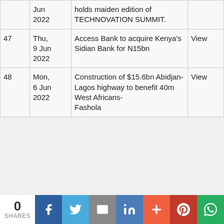| # | Date | Title | Link |
| --- | --- | --- | --- |
|  | Jun 2022 | holds maiden edition of TECHNOVATION SUMMIT. |  |
| 47 | Thu, 9 Jun 2022 | Access Bank to acquire Kenya's Sidian Bank for N15bn | View |
| 48 | Mon, 6 Jun 2022 | Construction of $15.6bn Abidjan-Lagos highway to benefit 40m West Africans-Fashola | View |
0 SHARES | Facebook | Twitter | Email | LinkedIn | More | Pinterest | WhatsApp